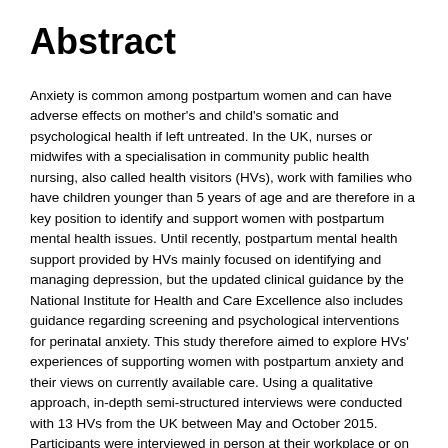Abstract
Anxiety is common among postpartum women and can have adverse effects on mother's and child's somatic and psychological health if left untreated. In the UK, nurses or midwifes with a specialisation in community public health nursing, also called health visitors (HVs), work with families who have children younger than 5 years of age and are therefore in a key position to identify and support women with postpartum mental health issues. Until recently, postpartum mental health support provided by HVs mainly focused on identifying and managing depression, but the updated clinical guidance by the National Institute for Health and Care Excellence also includes guidance regarding screening and psychological interventions for perinatal anxiety. This study therefore aimed to explore HVs' experiences of supporting women with postpartum anxiety and their views on currently available care. Using a qualitative approach, in-depth semi-structured interviews were conducted with 13 HVs from the UK between May and October 2015. Participants were interviewed in person at their workplace or on the phone/Skype. Using thematic analysis, four main themes emerged: identification and screening issues; importance of training; service usage; and status of current service provision. Women with postpartum anxiety were commonly encountered by HVs in their clinical practice and described as often heavily using their or other related healthcare services, which puts additional strain on HVs' already heavy workload. Issues with